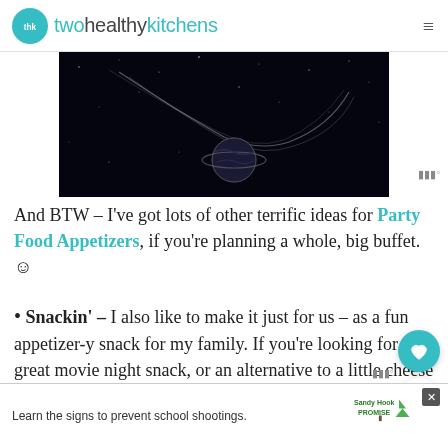twohealthykitchens
[Figure (photo): Dark/space themed image with abstract swirling lines and a planet-like sphere on a dark background]
And BTW – I've got lots of other terrific ideas for Party Food Appetizers, if you're planning a whole, big buffet. ☺
Snackin' – I also like to make it just for us – as a fun appetizer-y snack for my family. If you're looking for a great movie night snack, or an alternative to a little cheese tray for a relaxing "happy hour" with your
[Figure (infographic): What's Next widget showing Sweet and Spicy Peppe... with a food image thumbnail]
[Figure (infographic): Advertisement banner: Learn the signs to prevent school shootings. Sandy Hook Promise logo with tree graphic.]